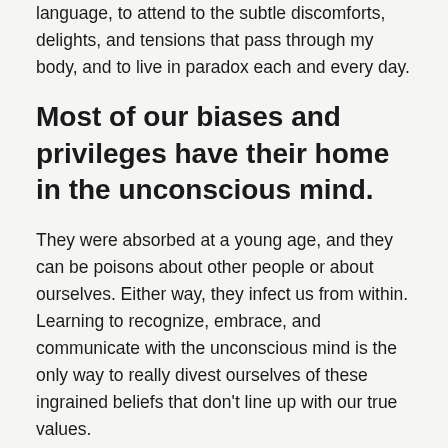language, to attend to the subtle discomforts, delights, and tensions that pass through my body, and to live in paradox each and every day.
Most of our biases and privileges have their home in the unconscious mind.
They were absorbed at a young age, and they can be poisons about other people or about ourselves. Either way, they infect us from within. Learning to recognize, embrace, and communicate with the unconscious mind is the only way to really divest ourselves of these ingrained beliefs that don't line up with our true values.
Tarot is one of my favorite tools for exploring, for